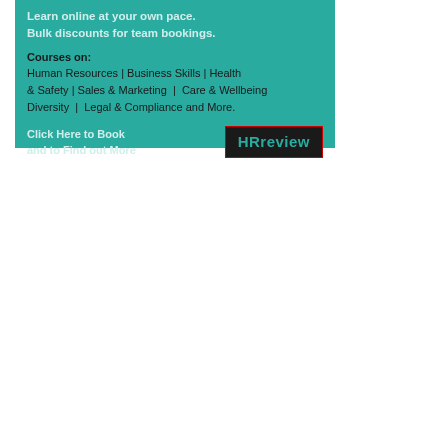[Figure (infographic): Teal advertisement banner for HRreview online training courses. Contains tagline 'Learn online at your own pace. Bulk discounts for team bookings.', a list of course subjects (Human Resources, Business Skills, Health & Safety, Sales & Marketing, Care & Wellbeing, Diversity, Legal & Compliance and More.), a call-to-action 'Click Here to Book and to Find out More', and the HRreview logo on a dark background with red border.]